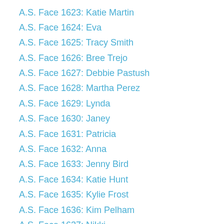A.S. Face 1623: Katie Martin
A.S. Face 1624: Eva
A.S. Face 1625: Tracy Smith
A.S. Face 1626: Bree Trejo
A.S. Face 1627: Debbie Pastush
A.S. Face 1628: Martha Perez
A.S. Face 1629: Lynda
A.S. Face 1630: Janey
A.S. Face 1631: Patricia
A.S. Face 1632: Anna
A.S. Face 1633: Jenny Bird
A.S. Face 1634: Katie Hunt
A.S. Face 1635: Kylie Frost
A.S. Face 1636: Kim Pelham
A.S. Face 1637: Nikki
A.S. Face 1638: Tracy T.
A.S. Face 1639: C
A.S. Face 1640: Melanie
A.S. Face 1641: Shannon
A.S. Face 1642: Robin Shaffer